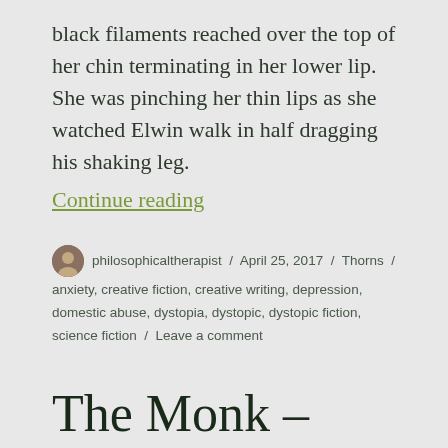black filaments reached over the top of her chin terminating in her lower lip. She was pinching her thin lips as she watched Elwin walk in half dragging his shaking leg.
Continue reading
philosophicaltherapist / April 25, 2017 / Thorns / anxiety, creative fiction, creative writing, depression, domestic abuse, dystopia, dystopic, dystopic fiction, science fiction / Leave a comment
The Monk – Part 1
Oriana perched on the seat of the bus shelter like a cat ready to pounce. Soon enough the